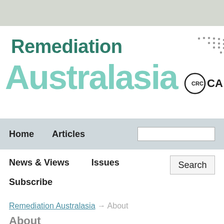[Figure (logo): Remediation Australasia logo with CRC CARE branding — large teal bold text 'Remediation' over lighter teal 'Australasia', with dotted swoosh graphic and 'CRCCA' text on the right]
Home
Articles
News & Views
Issues
Subscribe
Remediation Australasia → About
About